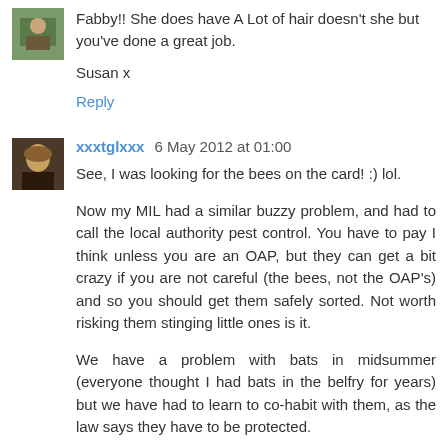Fabby!! She does have A Lot of hair doesn't she but you've done a great job.

Susan x
Reply
xxxtglxxx  6 May 2012 at 01:00
See, I was looking for the bees on the card! :) lol.
Now my MIL had a similar buzzy problem, and had to call the local authority pest control. You have to pay I think unless you are an OAP, but they can get a bit crazy if you are not careful (the bees, not the OAP's) and so you should get them safely sorted. Not worth risking them stinging little ones is it.
We have a problem with bats in midsummer (everyone thought I had bats in the belfry for years) but we have had to learn to co-habit with them, as the law says they have to be protected.